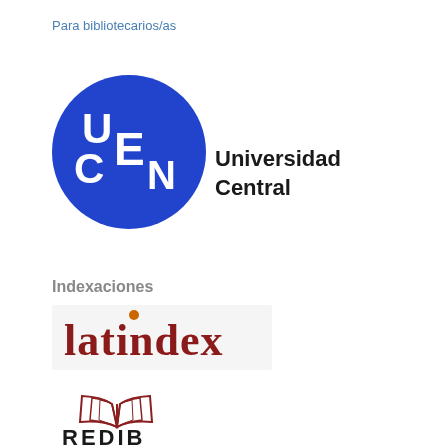Para bibliotecarios/as
[Figure (logo): UCEN Universidad Central logo — blue circle with letters U, E, C, N in white, with text 'Universidad Central' to the right]
Indexaciones
[Figure (logo): Latindex logo — text 'latindex' in dark red serif font with an orange dot above the letter i]
[Figure (logo): REDIB logo — open book illustration in red/brown lines with 'REDIB' text below in dark letters]